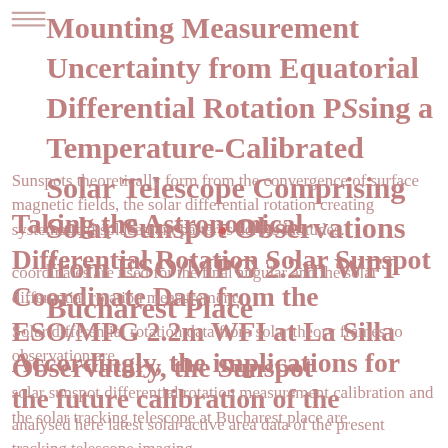Mounting Measurement Uncertainty from Equatorial Differential Rotation PSsing a Temperature-Calibrated Solar Telescope Comprising Solar Sunspot Observations from ESO/MPG 2.2m WFI Bucharest Place
Sunspots theoretically form from the convergence of surface magnetic fields, the solar differential rotation creating systematic displacement patterns across latitudes.
Taking the Astronomical Differential Rotation Solar Sunspot Coordinate Data from the ESO/MPG 2.2m WFI at La Silla Observatory, the Sunspot
coordinates are used for the final angular and the solar differential rotation measurement.
Solar differential rotation data from solar theory frames to observation are
Accordingly, the implications for the future calibration of the
solar sunspot differential rotation measurement calibration and the solar tracking telescope at Bucharest place are
analysed here latest solar active area data of the present tracking telescope imaging